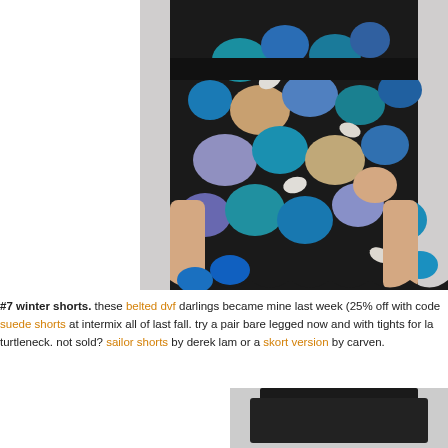[Figure (photo): Close-up of woman wearing a floral lace embroidered mini dress with long sleeves in blue, purple, and teal tones on black background]
#7 winter shorts. these belted dvf darlings became mine last week (25% off with code suede shorts at intermix all of last fall. try a pair bare legged now and with tights for la turtleneck. not sold? sailor shorts by derek lam or a skort version by carven.
[Figure (photo): Bottom portion of black skirt or shorts garment]